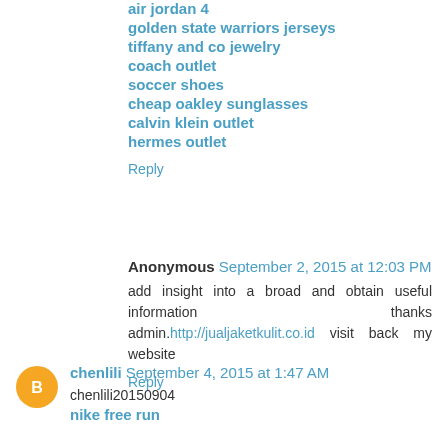air jordan 4
golden state warriors jerseys
tiffany and co jewelry
coach outlet
soccer shoes
cheap oakley sunglasses
calvin klein outlet
hermes outlet
Reply
Anonymous September 2, 2015 at 12:03 PM
add insight into a broad and obtain useful information thanks admin.http://jualjaketkulit.co.id visit back my website
Reply
chenlili September 4, 2015 at 1:47 AM
chenlili20150904
nike free run